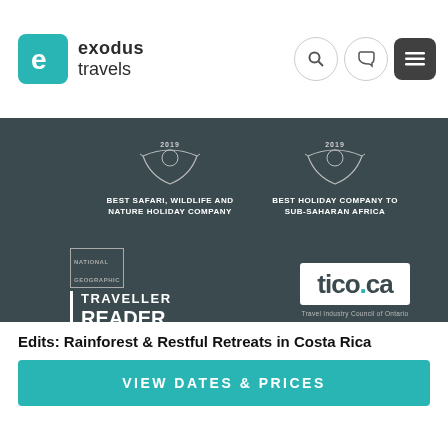[Figure (logo): Exodus Travels logo with teal square icon and company name]
[Figure (screenshot): Navigation icons: search, phone, and hamburger menu on white header bar]
[Figure (infographic): 2019 Best Safari, Wildlife and Nature Holiday Company award badge on dark background]
[Figure (infographic): 2019 Best Holiday Company to Sub-Saharan Africa award badge on dark background]
[Figure (infographic): National Geographic Traveller Reader Awards 2019 Winner The Small-Medium Operator]
[Figure (logo): tico.ca Travel Industry Council of Ontario logo on dark background]
[Figure (infographic): Pink chat bubble icon button]
© 2022 Exodus Travels Canada Inc. All rights reserved.
Edits: Rainforest & Restful Retreats in Costa Rica
VIEW DATES & PRICES